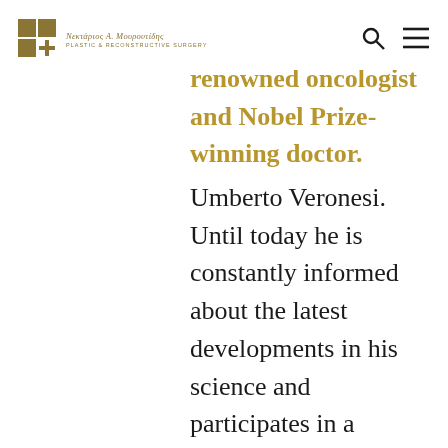Νεκτάριος Α. Μουρουτίδης — Plastic & Reconstructive Surgery
renowned oncologist and Nobel Prize-winning doctor Umberto Veronesi. Until today he is constantly informed about the latest developments in his science and participates in a series of training and specialized seminars on the most modern techniques and methods in all areas of Reconstructive and Aesthetic Surgery, next to experienced and internationally acclaimed surgeons of our time. She was the director of Plastic Aesthetic Surgery at